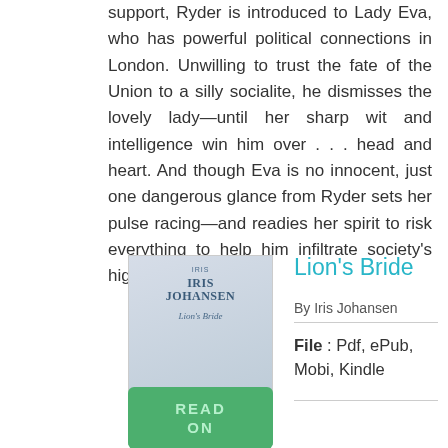support, Ryder is introduced to Lady Eva, who has powerful political connections in London. Unwilling to trust the fate of the Union to a silly socialite, he dismisses the lovely lady—until her sharp wit and intelligence win him over . . . head and heart. And though Eva is no innocent, just one dangerous glance from Ryder sets her pulse racing—and readies her spirit to risk everything to help him infiltrate society's highest circles.
[Figure (illustration): Book cover for Lion's Bride by Iris Johansen]
Lion's Bride
By Iris Johansen
File : Pdf, ePub, Mobi, Kindle
[Figure (illustration): Green READ button/banner at the bottom left]